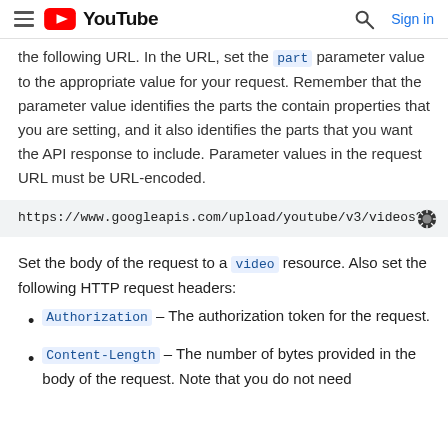YouTube
the following URL. In the URL, set the part parameter value to the appropriate value for your request. Remember that the parameter value identifies the parts the contain properties that you are setting, and it also identifies the parts that you want the API response to include. Parameter values in the request URL must be URL-encoded.
https://www.googleapis.com/upload/youtube/v3/videos?up
Set the body of the request to a video resource. Also set the following HTTP request headers:
Authorization – The authorization token for the request.
Content-Length – The number of bytes provided in the body of the request. Note that you do not need